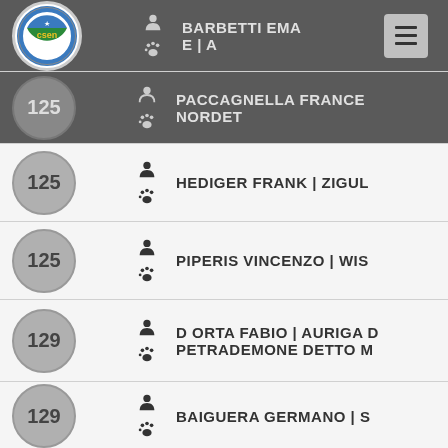BARBETTI EMANUELE | A
PACCAGNELLA FRANCES | NORDET
HEDIGER FRANK | ZIGUL
PIPERIS VINCENZO | WIS
D ORTA FABIO | AURIGA D | PETRADEMONE DETTO M
BAIGUERA GERMANO | S